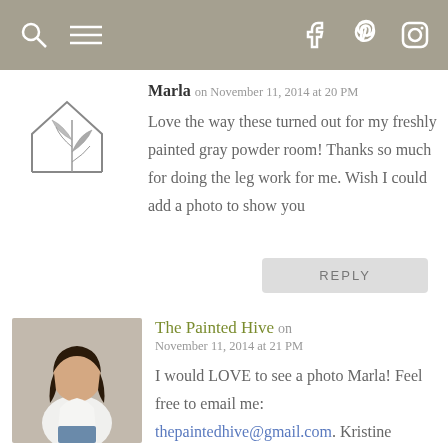Navigation bar with search, menu, Facebook, Pinterest, Instagram icons
Marla on November 11, 2014 at 20 PM
Love the way these turned out for my freshly painted gray powder room! Thanks so much for doing the leg work for me. Wish I could add a photo to show you
REPLY
The Painted Hive on November 11, 2014 at 21 PM
I would LOVE to see a photo Marla! Feel free to email me: thepaintedhive@gmail.com. Kristine